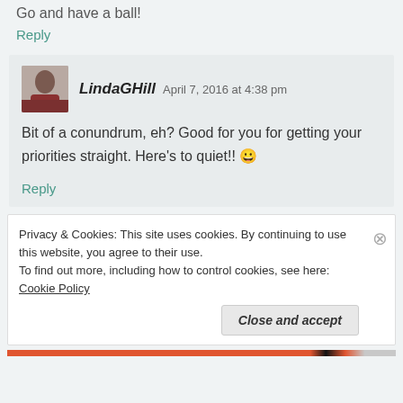Go and have a ball!
Reply
LindaGHill   April 7, 2016 at 4:38 pm
Bit of a conundrum, eh? Good for you for getting your priorities straight. Here's to quiet!! 😀
Reply
Privacy & Cookies: This site uses cookies. By continuing to use this website, you agree to their use. To find out more, including how to control cookies, see here: Cookie Policy
Close and accept